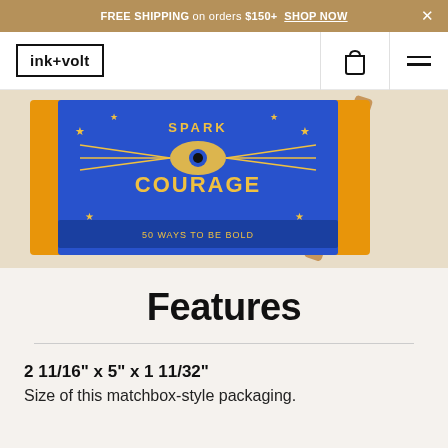FREE SHIPPING on orders $150+  SHOP NOW
[Figure (logo): ink+volt logo in bordered box]
[Figure (photo): Matchbox-style product packaging with blue and gold design reading 'SPARK COURAGE - 50 Ways to Be Bold']
Features
2 11/16" x 5" x 1 11/32"
Size of this matchbox-style packaging.